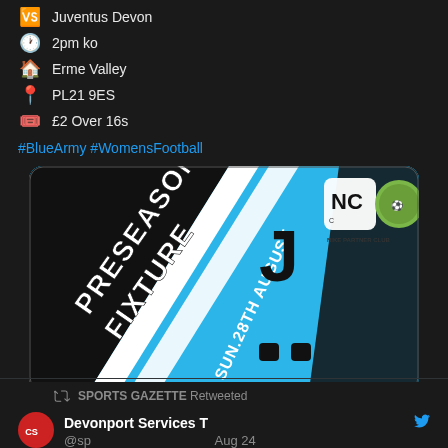VS Juventus Devon
2pm ko
Erme Valley
PL21 9ES
£2 Over 16s
#BlueArmy #WomensFootball
[Figure (illustration): Preseason Fixture promotional graphic with blue, black and white diagonal stripes. Text reads PRESEASON FIXTURE, SUN.28TH AUGUST. Juventus logo visible. NC logo and Nike Partner Club badge in top right corner.]
Marine Academy Plymouth FC and 7 others
14 likes
SPORTS GAZETTE Retweeted
Devonport Services T  @sp  Aug 24